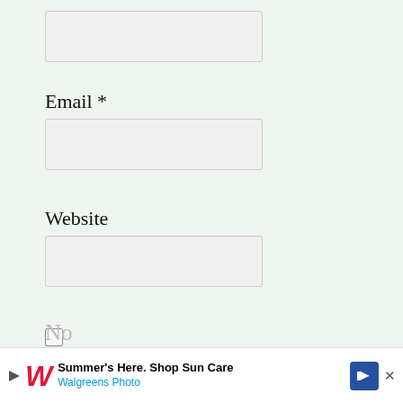[Figure (screenshot): A form input box (empty, light gray background) for a text field at the top of the page]
Email *
[Figure (screenshot): A form input box (empty, light gray background) for the Email field]
Website
[Figure (screenshot): A form input box (empty, light gray background) for the Website field]
[Figure (screenshot): An unchecked checkbox]
Save my name, email, and website in this browser for the next time I comment.
[Figure (screenshot): Advertisement banner: Summer's Here. Shop Sun Care - Walgreens Photo, with a blue arrow button and close X]
No